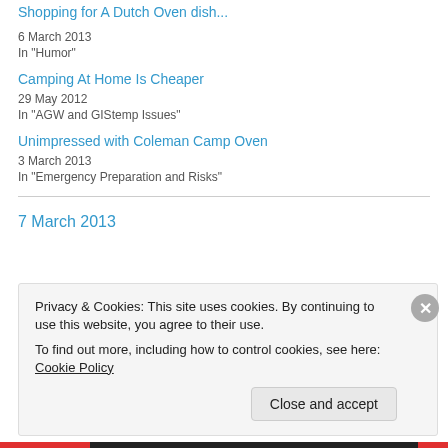Shopping for A Dutch Oven dish...
6 March 2013
In "Humor"
Camping At Home Is Cheaper
29 May 2012
In "AGW and GIStemp Issues"
Unimpressed with Coleman Camp Oven
3 March 2013
In "Emergency Preparation and Risks"
7 March 2013
Privacy & Cookies: This site uses cookies. By continuing to use this website, you agree to their use. To find out more, including how to control cookies, see here: Cookie Policy
Close and accept